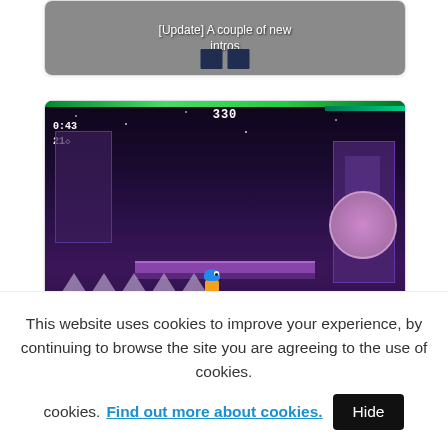[Figure (screenshot): Partial thumbnail card showing '[Update] A couple of new intros' with dark pixel-art block icons at bottom]
[Figure (screenshot): Video thumbnail of Sonic 3 & Knuckles [MD/G- Beta / Unused Levels] game footage. Shows purple/dark game scene with HUD showing 330, timer 0:43, rings 21. White text overlay at bottom reads 'Sonic 3 & Knuckles [MD/G- Beta / Unused Levels]']
[Figure (screenshot): Partial card with colorful horizontal strip image (orange, blue, green, purple, green, blue) at top]
This website uses cookies to improve your experience, by continuing to browse the site you are agreeing to the use of cookies. Find out more about cookies.